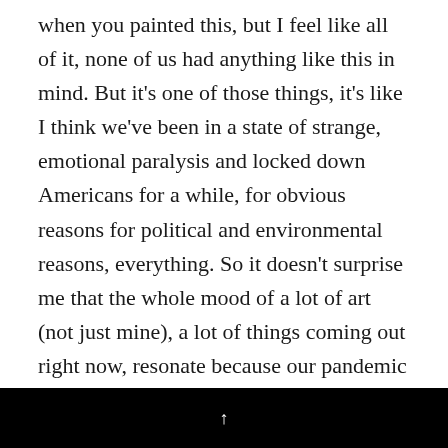when you painted this, but I feel like all of it, none of us had anything like this in mind. But it's one of those things, it's like I think we've been in a state of strange, emotional paralysis and locked down Americans for a while, for obvious reasons for political and environmental reasons, everything. So it doesn't surprise me that the whole mood of a lot of art (not just mine), a lot of things coming out right now, resonate because our pandemic time. Yes, there's one thing that's drastically different, but the rest of the world that we've all been living in for a long
↑